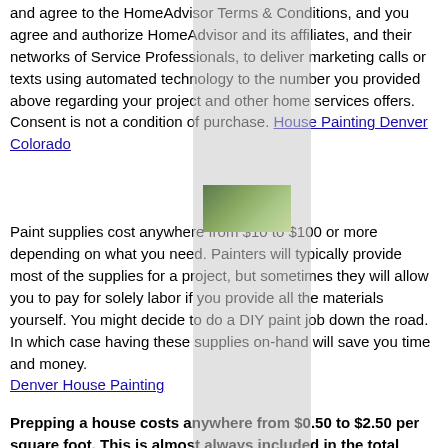and agree to the HomeAdvisor Terms & Conditions, and you agree and authorize HomeAdvisor and its affiliates, and their networks of Service Professionals, to deliver marketing calls or texts using automated technology to the number you provided above regarding your project and other home services offers. Consent is not a condition of purchase. House Painting Denver Colorado
[Figure (photo): Small thumbnail photo showing outdoor foliage/plants, partially visible behind an overlay scrollbar strip]
Paint supplies cost anywhere from $10 to $100 or more depending on what you need. Painters will typically provide most of the supplies for a project, but sometimes they will allow you to pay for solely labor if you provide all the materials yourself. You might decide to do a DIY paint job down the road. In which case having these supplies on-hand will save you time and money. Denver House Painting
Prepping a house costs anywhere from $0.50 to $2.50 per square foot. This is almost always included in the total project price. However, the DIYer might negotiate...